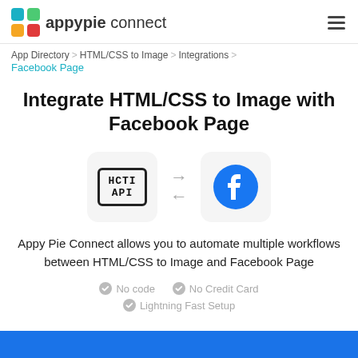[Figure (logo): Appy Pie Connect logo with colorful grid icon and text 'appypie connect']
App Directory > HTML/CSS to Image > Integrations > Facebook Page
Integrate HTML/CSS to Image with Facebook Page
[Figure (illustration): HCTI API logo box on left, bidirectional arrows in center, Facebook logo circle on right]
Appy Pie Connect allows you to automate multiple workflows between HTML/CSS to Image and Facebook Page
No code
No Credit Card
Lightning Fast Setup